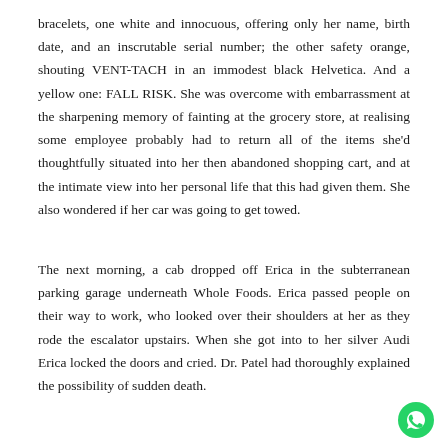bracelets, one white and innocuous, offering only her name, birth date, and an inscrutable serial number; the other safety orange, shouting VENT-TACH in an immodest black Helvetica. And a yellow one: FALL RISK. She was overcome with embarrassment at the sharpening memory of fainting at the grocery store, at realising some employee probably had to return all of the items she'd thoughtfully situated into her then abandoned shopping cart, and at the intimate view into her personal life that this had given them. She also wondered if her car was going to get towed.
The next morning, a cab dropped off Erica in the subterranean parking garage underneath Whole Foods. Erica passed people on their way to work, who looked over their shoulders at her as they rode the escalator upstairs. When she got into to her silver Audi Erica locked the doors and cried. Dr. Patel had thoroughly explained the possibility of sudden death.
[Figure (logo): WhatsApp logo — green circle with white phone/chat icon]